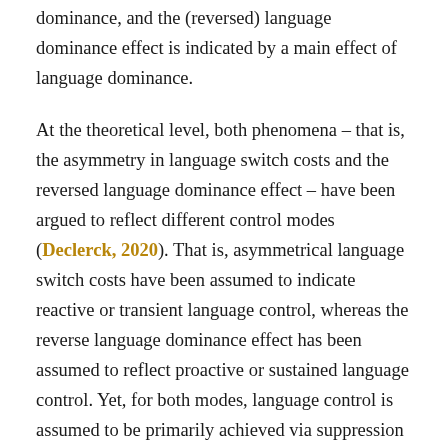dominance, and the (reversed) language dominance effect is indicated by a main effect of language dominance.
At the theoretical level, both phenomena – that is, the asymmetry in language switch costs and the reversed language dominance effect – have been argued to reflect different control modes (Declerck, 2020). That is, asymmetrical language switch costs have been assumed to indicate reactive or transient language control, whereas the reverse language dominance effect has been assumed to reflect proactive or sustained language control. Yet, for both modes, language control is assumed to be primarily achieved via suppression of one language (i.e., inhibitory control; see Green, 1998).